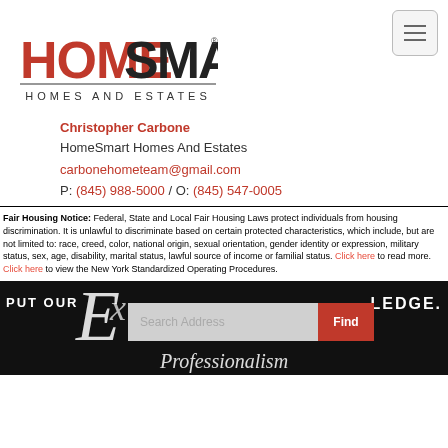[Figure (logo): HomeSmart Homes And Estates logo with red and black text]
Christopher Carbone
HomeSmart Homes And Estates
carbonehometeam@gmail.com
P: (845) 988-5000 / O: (845) 547-0005
Fair Housing Notice: Federal, State and Local Fair Housing Laws protect individuals from housing discrimination. It is unlawful to discriminate based on certain protected characteristics, which include, but are not limited to: race, creed, color, national origin, sexual orientation, gender identity or expression, military status, sex, age, disability, marital status, lawful source of income or familial status. Click here to read more. Click here to view the New York Standardized Operating Procedures.
[Figure (screenshot): Dark banner with PUT OUR script text LEDGE and a Search Address input box with Find button]